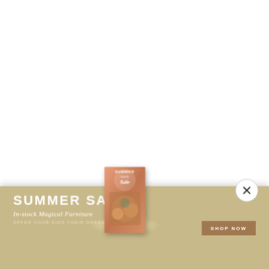[Figure (illustration): White blank area taking up upper two-thirds of the page]
[Figure (illustration): Advertising banner with warm tan/khaki background showing a Summer Sale promotion for in-stock magical furniture, featuring a small book/catalog image in the center and a Shop Now button on the right]
SUMMER SALE
In-stock Magical Furniture
OFFER YOUR KIDS THEIR DREAM ROOM
SHOP NOW